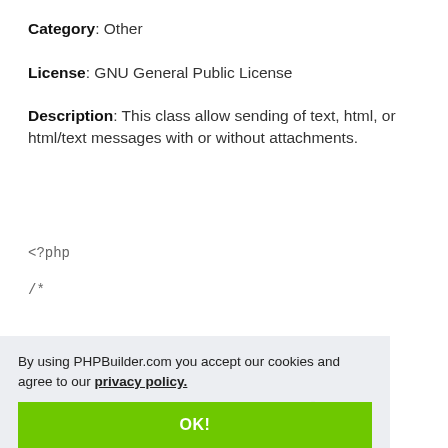Category: Other
License: GNU General Public License
Description: This class allow sending of text, html, or html/text messages with or without attachments.
<?php
/*
Amended 17/08/2003 to attach data from
...let the 1st argument f
...and the 2nd argument or the
filename
By using PHPBuilder.com you accept our cookies and agree to our privacy policy.
OK!